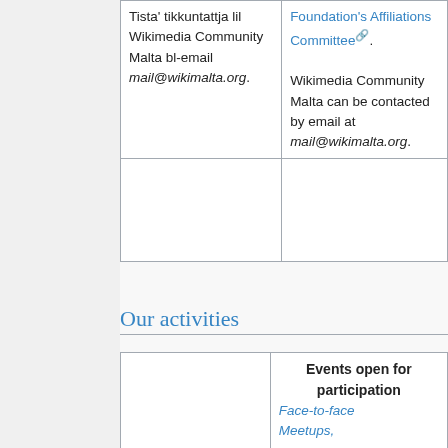| Maltese | English |
| --- | --- |
| Tista' tikkuntattja lil Wikimedia Community Malta bl-email mail@wikimalta.org. | Foundation's Affiliations Committee☞.

Wikimedia Community Malta can be contacted by email at mail@wikimalta.org. |
Our activities
| Events open for participation |
| --- |
| Face-to-face Meetups, |